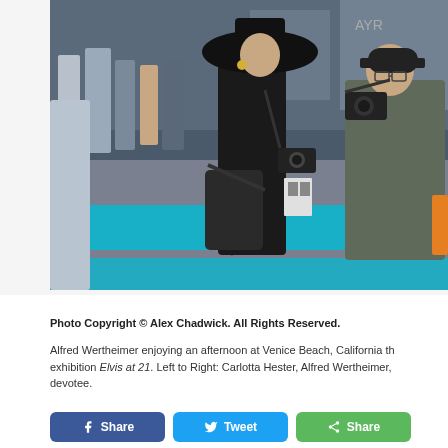[Figure (photo): Alfred Wertheimer and Carlotta Hester at Venice Beach, California. A woman in black clothing with a wide-brimmed hat holds a camera; a man in a gray jacket and dark cap stands nearby. Teal-painted sidewalk and street scene in background.]
Photo Copyright © Alex Chadwick. All Rights Reserved.
Alfred Wertheimer enjoying an afternoon at Venice Beach, California th exhibition Elvis at 21. Left to Right: Carlotta Hester, Alfred Wertheimer, devotee.
[Figure (infographic): Social share buttons: Facebook Share, Twitter Tweet, and a green Share button]